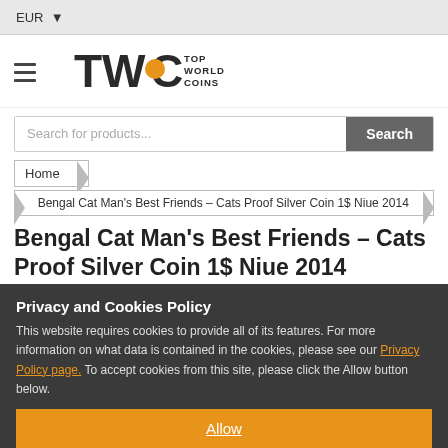EUR ▼
[Figure (logo): TWC Top World Coins logo with orange circle accent]
Search for products...
Home > Bengal Cat Man's Best Friends – Cats Proof Silver Coin 1$ Niue 2014
Bengal Cat Man's Best Friends – Cats Proof Silver Coin 1$ Niue 2014
Privacy and Cookies Policy
This website requires cookies to provide all of its features. For more information on what data is contained in the cookies, please see our Privacy Policy page. To accept cookies from this site, please click the Allow button below.
Allow